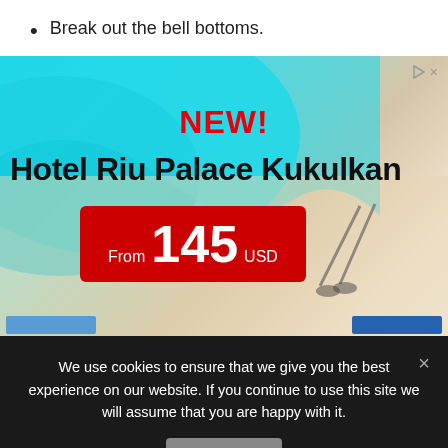Break out the bell bottoms.
[Figure (photo): Advertisement for Hotel Riu Palace Kukulkan showing aerial beach photo with two people casting shadows on white sand, turquoise water, text NEW! Hotel Riu Palace Kukulkan From 145 USD]
We use cookies to ensure that we give you the best experience on our website. If you continue to use this site we will assume that you are happy with it.